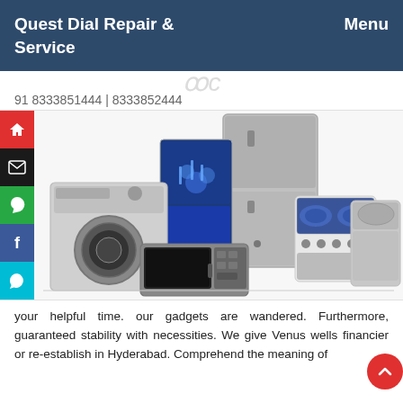Quest Dial Repair & Service    Menu
91 8333851444 | 8333852444
[Figure (photo): Collection of home appliances including refrigerators, washing machines, and microwave oven arranged for display, with social media sidebar icons on the left (home, mail, phone, facebook, whatsapp).]
your helpful time. our gadgets are wandered. Furthermore, guaranteed stability with necessities. We give Venus wells financier or re-establish in Hyderabad. Comprehend the meaning of